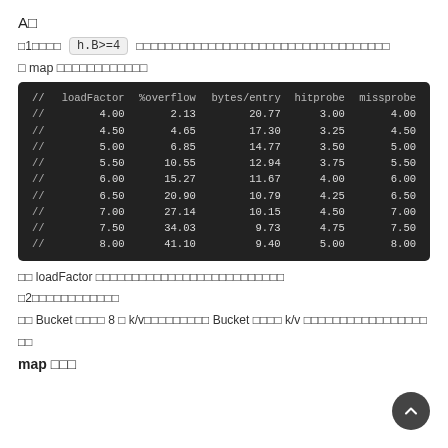A□
□1□□□□  h.B>=4  □□□□□□□□□□□□□□□□□□□□□□□□□□□□□□□□□□□□□
□ map □□□□□□□□□□□□
| // | loadFactor | %overflow | bytes/entry | hitprobe | missprobe |
| --- | --- | --- | --- | --- | --- |
| // | 4.00 | 2.13 | 20.77 | 3.00 | 4.00 |
| // | 4.50 | 4.65 | 17.30 | 3.25 | 4.50 |
| // | 5.00 | 6.85 | 14.77 | 3.50 | 5.00 |
| // | 5.50 | 10.55 | 12.94 | 3.75 | 5.50 |
| // | 6.00 | 15.27 | 11.67 | 4.00 | 6.00 |
| // | 6.50 | 20.90 | 10.79 | 4.25 | 6.50 |
| // | 7.00 | 27.14 | 10.15 | 4.50 | 7.00 |
| // | 7.50 | 34.03 | 9.73 | 4.75 | 7.50 |
| // | 8.00 | 41.10 | 9.40 | 5.00 | 8.00 |
□□ loadFactor □□□□□□□□□□□□□□□□□□□□□□□□□□
□2□□□□□□□□□□□□
□□ Bucket □□□□ 8 □ k/v□□□□□□□□□ Bucket □□□□ k/v □□□□□□□□□□□□□□□□□
□□
map □□□